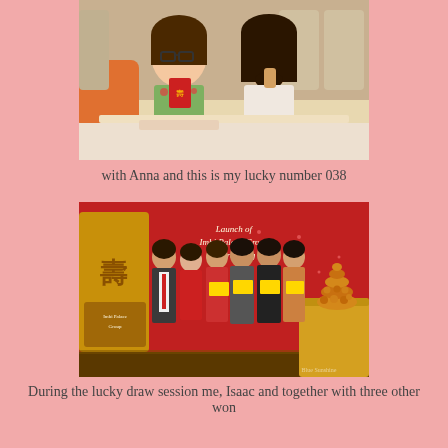[Figure (photo): Two young women seated at a restaurant table, smiling and holding up small red cards/items. Decorative orange cushions and restaurant chairs visible in background.]
with Anna and this is my lucky number 038
[Figure (photo): Group of six people standing in front of a red banner reading 'Launch of Imbi Palace Group Rebranding'. They are holding golden envelopes. A decorative tower of pastries/foods is visible on the right on a gold-draped table. Imbi Palace Group logo visible on the left.]
During the lucky draw session me, Isaac and together with three other won